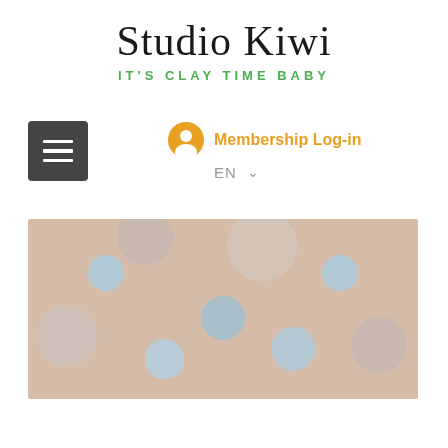Studio Kiwi
IT'S CLAY TIME BABY
[Figure (screenshot): Navigation bar with hamburger menu icon (dark grey square with three white lines) on the left, and Membership Log-in link with user icon and language selector (EN with dropdown arrow) on the right]
[Figure (photo): Blurred close-up photo of clay pottery pieces — round bowls with blue-grey circular indentations on a warm beige/pink background]